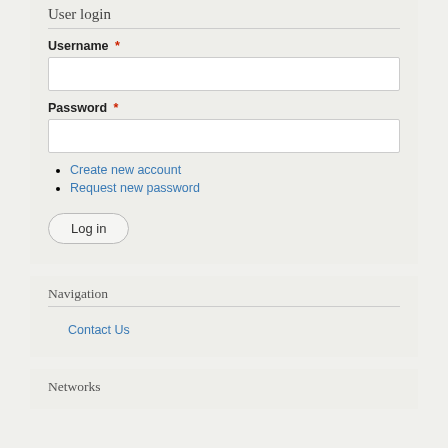User login
Username *
Password *
Create new account
Request new password
Log in
Navigation
Contact Us
Networks